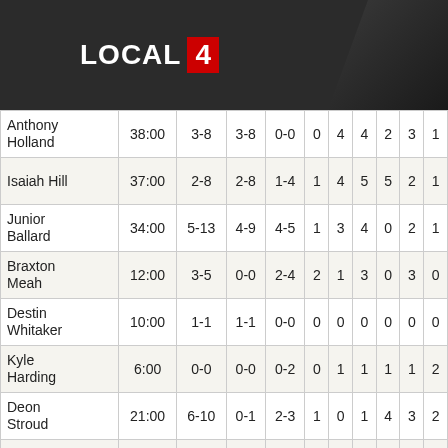[Figure (logo): LOCAL 4 logo on dark background]
| Player | MIN | FG | 3PT | FT | OR | DR | REB | AST | ST | BLK |
| --- | --- | --- | --- | --- | --- | --- | --- | --- | --- | --- |
| Anthony Holland | 38:00 | 3-8 | 3-8 | 0-0 | 0 | 4 | 4 | 2 | 3 | 1 |
| Isaiah Hill | 37:00 | 2-8 | 2-8 | 1-4 | 1 | 4 | 5 | 5 | 2 | 1 |
| Junior Ballard | 34:00 | 5-13 | 4-9 | 4-5 | 1 | 3 | 4 | 0 | 2 | 1 |
| Braxton Meah | 12:00 | 3-5 | 0-0 | 2-4 | 2 | 1 | 3 | 0 | 3 | 0 |
| Destin Whitaker | 10:00 | 1-1 | 1-1 | 0-0 | 0 | 0 | 0 | 0 | 0 | 0 |
| Kyle Harding | 6:00 | 0-0 | 0-0 | 0-2 | 0 | 1 | 1 | 1 | 1 | 2 |
| Deon Stroud | 21:00 | 6-10 | 0-1 | 2-3 | 1 | 0 | 1 | 4 | 3 | 2 |
| Jordan Campbell | 5:00 | 0-2 | 0-1 | 0-0 | 0 | 1 | 1 | 0 | 1 | 0 |
| Devin |  |  |  |  |  |  |  |  |  |  |